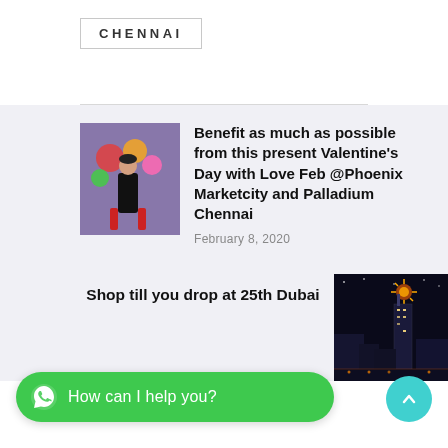CHENNAI
[Figure (photo): Thumbnail photo of a person with colorful flowers/balloons]
Benefit as much as possible from this present Valentine's Day with Love Feb @Phoenix Marketcity and Palladium Chennai
February 8, 2020
Shop till you drop at 25th Dubai
[Figure (photo): Night cityscape photo with lights and buildings]
How can I help you?